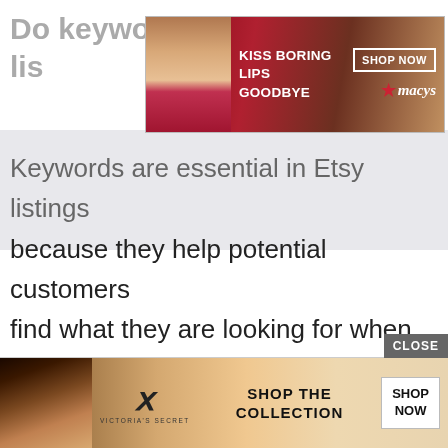Do keywords matter in Etsy listings
[Figure (screenshot): Macy's advertisement banner: 'KISS BORING LIPS GOODBYE' with a woman's face with red lips and a 'SHOP NOW' button with Macy's star logo]
Keywords are essential in Etsy listings because they help potential customers find what they are looking for when searching for similar items online. Ensure that you include relevant keywords throughout all of your listings (in the title, tags, and description) so
[Figure (screenshot): Victoria's Secret advertisement banner: 'SHOP THE COLLECTION' with a woman's face and 'SHOP NOW' button]